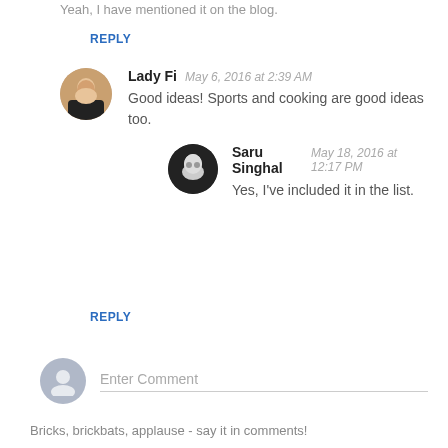Yeah, I have mentioned it on the blog.
REPLY
Lady Fi  May 6, 2016 at 2:39 AM
Good ideas! Sports and cooking are good ideas too.
Saru Singhal  May 18, 2016 at 12:17 PM
Yes, I've included it in the list.
REPLY
Enter Comment
Bricks, brickbats, applause - say it in comments!